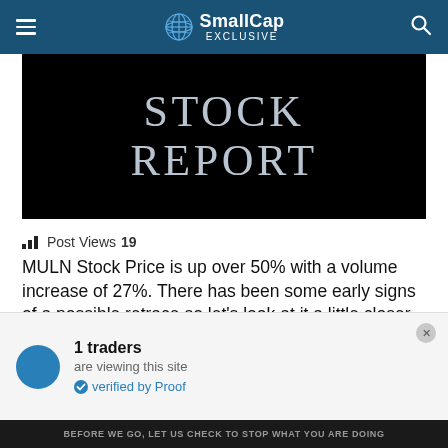SmallCap EXCLUSIVE
[Figure (illustration): Dark banner image with text STOCK REPORT in large serif letters on black background]
Post Views 19
MULN Stock Price is up over 50% with a volume increase of 27%. There has been some early signs of a possible retrace so let's look at it a little closer.
Wondering why this stock is having such a hard time and
1 traders are viewing this site verified by Proof
BEFORE WE GO, LET US CHECK TO STOP WHAT YOU ARE DOING